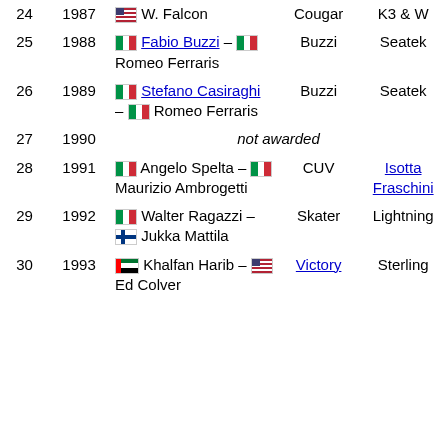| # | Year | Pilot | Boat | Engine |
| --- | --- | --- | --- | --- |
| 24 | 1987 | 🇺🇸 W. Falcon | Cougar | K3 & W |
| 25 | 1988 | 🇮🇹 Fabio Buzzi – 🇮🇹 Romeo Ferraris | Buzzi | Seatek |
| 26 | 1989 | 🇮🇹 Stefano Casiraghi – 🇮🇹 Romeo Ferraris | Buzzi | Seatek |
| 27 | 1990 | not awarded |  |  |
| 28 | 1991 | 🇮🇹 Angelo Spelta – 🇮🇹 Maurizio Ambrogetti | CUV | Isotta Fraschini |
| 29 | 1992 | 🇮🇹 Walter Ragazzi – 🇫🇮 Jukka Mattila | Skater | Lightning |
| 30 | 1993 | 🇦🇪 Khalfan Harib – 🇺🇸 Ed Colver | Victory | Sterling |